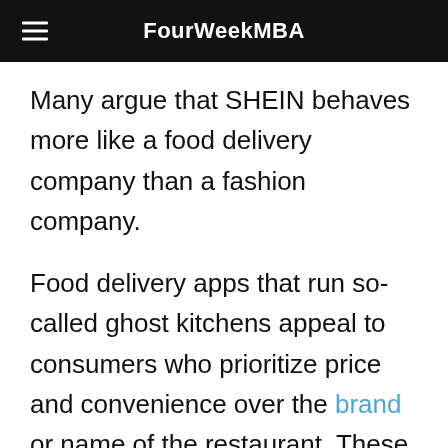FourWeekMBA
Many argue that SHEIN behaves more like a food delivery company than a fashion company.
Food delivery apps that run so-called ghost kitchens appeal to consumers who prioritize price and convenience over the brand or name of the restaurant. These apps